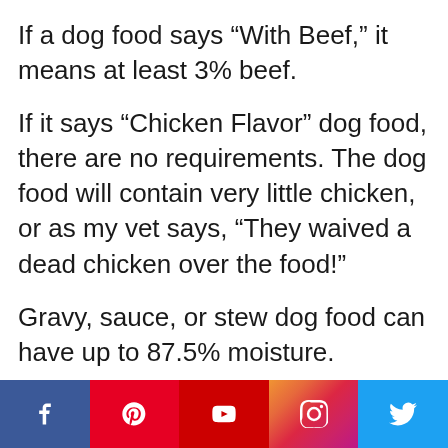If a dog food says “With Beef,” it means at least 3% beef.
If it says “Chicken Flavor” dog food, there are no requirements. The dog food will contain very little chicken, or as my vet says, “They waived a dead chicken over the food!”
Gravy, sauce, or stew dog food can have up to 87.5% moisture.
[Figure (infographic): Social media share bar with Facebook, Pinterest, YouTube, Instagram, and Twitter icons on colored backgrounds]